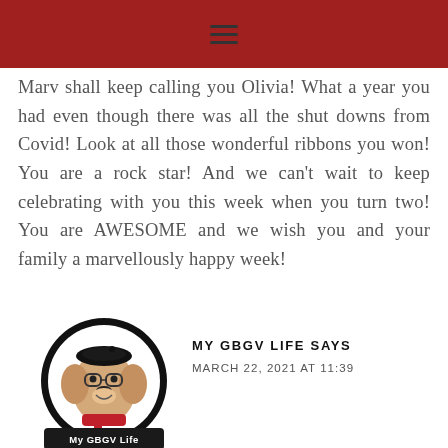☰
Marv shall keep calling you Olivia! What a year you had even though there was all the shut downs from Covid! Look at all those wonderful ribbons you won! You are a rock star! And we can't wait to keep celebrating with you this week when you turn two! You are AWESOME and we wish you and your family a marvellously happy week!
[Figure (logo): My GBGV Life circular logo with cartoon dog wearing beret and red scarf]
MY GBGV LIFE SAYS
MARCH 22, 2021 AT 11:39